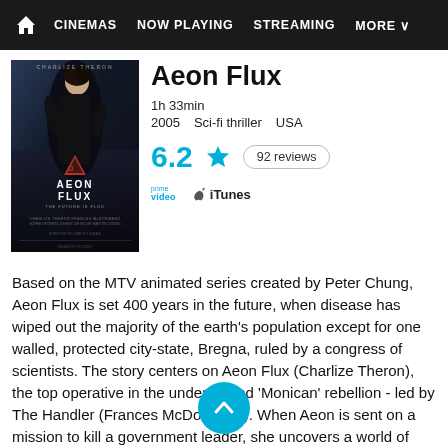🏠  CINEMAS   NOW PLAYING   STREAMING   MORE
[Figure (photo): Movie poster for Aeon Flux featuring Charlize Theron in black outfit against dark blue futuristic cityscape background]
Aeon Flux
1h 33min
2005   Sci-fi thriller   USA
6.2 ★   92 reviews
prime video   iTunes
Based on the MTV animated series created by Peter Chung, Aeon Flux is set 400 years in the future, when disease has wiped out the majority of the earth's population except for one walled, protected city-state, Bregna, ruled by a congress of scientists. The story centers on Aeon Flux (Charlize Theron), the top operative in the underground 'Monican' rebellion - led by The Handler (Frances McDormand). When Aeon is sent on a mission to kill a government leader, she uncovers a world of secrets.